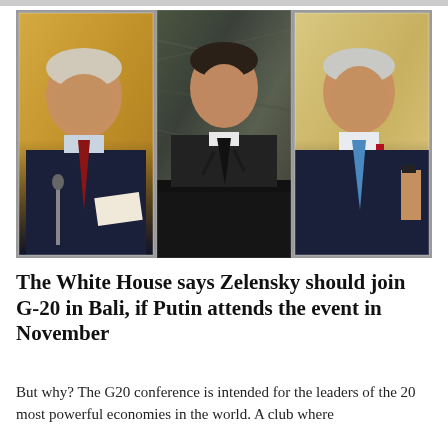[Figure (photo): Three-panel composite photo showing (left) Vladimir Putin in dark suit with red tie speaking at a table with golden background, (center) Volodymyr Zelensky in dark suit at a podium with microphones against a dark marble background, (right) Joe Biden in dark suit with blue tie against a warm cream/gold background.]
The White House says Zelensky should join G-20 in Bali, if Putin attends the event in November
But why? The G20 conference is intended for the leaders of the 20 most powerful economies in the world. A club where